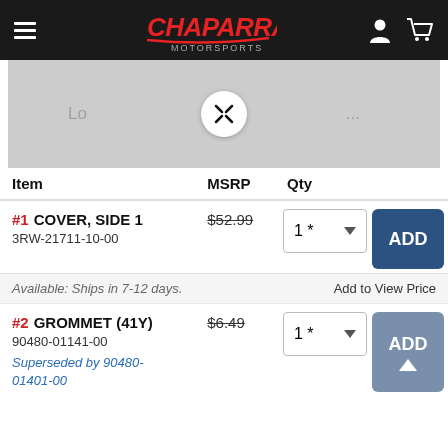[Figure (logo): Chaparral Motorsports logo with hamburger menu, user icon, and cart icon on black header bar]
[Figure (screenshot): Product image placeholder with expand icon button and loading text 'Lo...)']
| Item | MSRP | Qty |
| --- | --- | --- |
| #1 COVER, SIDE 1
3RW-21711-10-00 | $52.99 | 1 * ▼ | ADD |
| #2 GROMMET (41Y)
90480-01141-00
Superseded by 90480-01401-00 | $6.49 | 1 * ▼ | ADD |
Available: Ships in 7-12 days.
Add to View Price